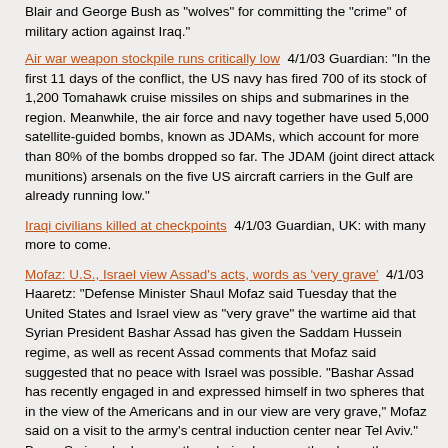Blair and George Bush as "wolves" for committing the "crime" of military action against Iraq."
Air war weapon stockpile runs critically low  4/1/03 Guardian: "In the first 11 days of the conflict, the US navy has fired 700 of its stock of 1,200 Tomahawk cruise missiles on ships and submarines in the region. Meanwhile, the air force and navy together have used 5,000 satellite-guided bombs, known as JDAMs, which account for more than 80% of the bombs dropped so far. The JDAM (joint direct attack munitions) arsenals on the five US aircraft carriers in the Gulf are already running low."
Iraqi civilians killed at checkpoints  4/1/03 Guardian, UK: with many more to come.
Mofaz: U.S., Israel view Assad's acts, words as 'very grave'  4/1/03 Haaretz: "Defense Minister Shaul Mofaz said Tuesday that the United States and Israel view as "very grave" the wartime aid that Syrian President Bashar Assad has given the Saddam Hussein regime, as well as recent Assad comments that Mofaz said suggested that no peace with Israel was possible. "Bashar Assad has recently engaged in and expressed himself in two spheres that in the view of the Americans and in our view are very grave," Mofaz said on a visit to the army's central induction center near Tel Aviv." Brave Syria, who has no other choice because they know they are next.